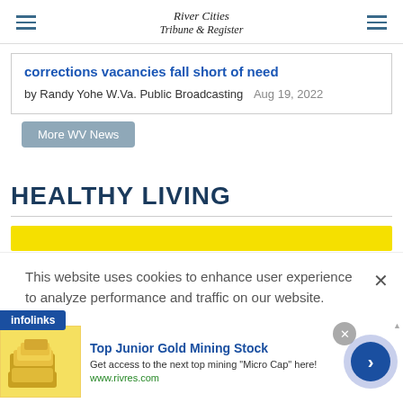River Cities Tribune & Register
corrections vacancies fall short of need
by Randy Yohe W.Va. Public Broadcasting   Aug 19, 2022
More WV News
HEALTHY LIVING
[Figure (other): Yellow advertisement banner]
This website uses cookies to enhance user experience to analyze performance and traffic on our website.
infolinks
[Figure (other): Advertisement: Top Junior Gold Mining Stock. Get access to the next top mining "Micro Cap" here! www.rivres.com. Gold bars image.]